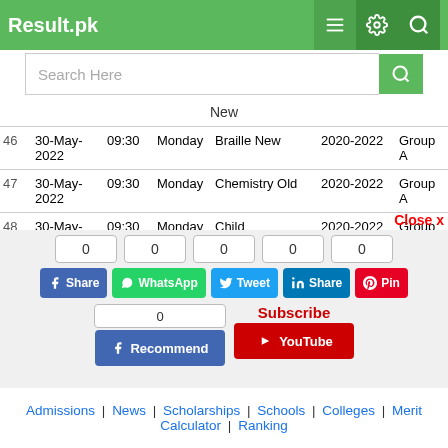Result.pk
Search Here
| # | Date | Time | Day | Subject | Year | Group |
| --- | --- | --- | --- | --- | --- | --- |
|  |  |  |  | New |  |  |
| 46 | 30-May-2022 | 09:30 | Monday | Braille New | 2020-2022 | Group A |
| 47 | 30-May-2022 | 09:30 | Monday | Chemistry Old | 2020-2022 | Group A |
| 48 | 30-May-2022 | 09:30 | Monday | Child Development and Family Living Old | 2020-2022 | Group A |
| 49 | 30-May-2022 | 09:30 | Monday | House Hold | 2020-2022 | Group A |
Close x
0 Share | 0 WhatsApp | 0 Tweet | 0 Share | 0 Pin
0 Recommend | Subscribe YouTube
Admissions | News | Scholarships | Schools | Colleges | Merit Calculator | Ranking